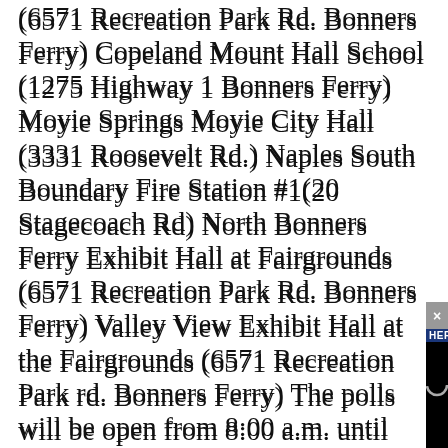(6571 Recreation Park Rd. Bonners Ferry) Copeland Mount Hall School (1275 Highway 1 Bonners Ferry) Moyie Springs Moyie City Hall (3331 Roosevelt Rd.) Naples South Boundary Fire Station #1(20 Stagecoach Rd) North Bonners Ferry Exhibit Hall at Fairgrounds (6571 Recreation Park Rd. Bonners Ferry) Valley View Exhibit Hall at the Fairgrounds (6571 Recreation Park rd. Bonners Ferry) The polls will be open from 8:00 a.m. until 8:00 p.m. Any person requiring a special accommodation due to a disability should contact the county clerk at least five days prior to the election. For further information regarding this notice or regarding this election, please call the
[Figure (screenshot): A black video player overlay partially covering the lower-right portion of the text. It shows a loading spinner (partial circle) in the center, a 'HERALD' label in the top-left corner of the player, and an 'x' close button in the upper-right corner.]